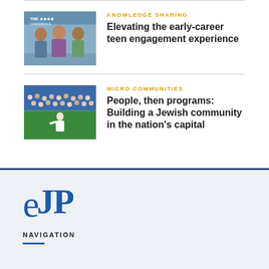KNOWLEDGE SHARING
Elevating the early-career teen engagement experience
[Figure (photo): Three young women smiling and holding items, indoors]
MICRO COMMUNITIES
People, then programs: Building a Jewish community in the nation's capital
[Figure (photo): Baseball game crowd at a stadium]
[Figure (logo): eJP logo in blue on light grey background]
NAVIGATION